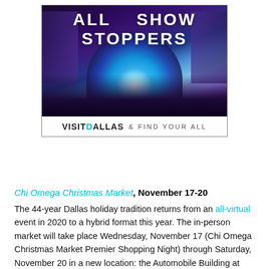[Figure (photo): Advertisement for Visit Dallas showing a grand concert hall/theater filled with audience, stage lit with teal and purple lights, text overlay reading 'ALL SHOW STOPPERS' and 'VISIT DALLAS & FIND YOUR ALL']
Chi Omega Christmas Market, November 17-20
The 44-year Dallas holiday tradition returns from an all-virtual event in 2020 to a hybrid format this year. The in-person market will take place Wednesday, November 17 (Chi Omega Christmas Market Premier Shopping Night) through Saturday, November 20 in a new location: the Automobile Building at Fair Park. A virtual shopping...